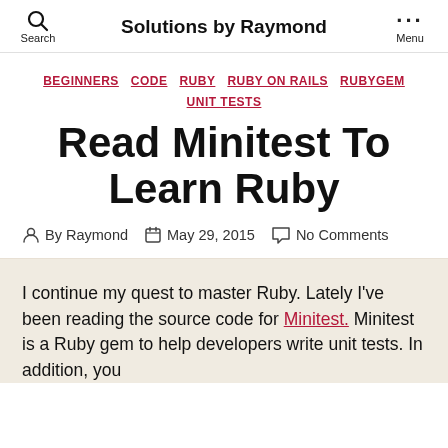Solutions by Raymond
BEGINNERS CODE RUBY RUBY ON RAILS RUBYGEM UNIT TESTS
Read Minitest To Learn Ruby
By Raymond  May 29, 2015  No Comments
I continue my quest to master Ruby. Lately I've been reading the source code for Minitest. Minitest is a Ruby gem to help developers write unit tests. In addition, you